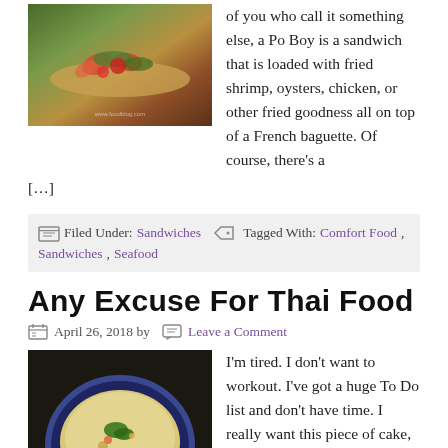of you who call it something else, a Po Boy is a sandwich that is loaded with fried shrimp, oysters, chicken, or other fried goodness all on top of a French baguette. Of course, there’s a [...]
Filed Under: Sandwiches   Tagged With: Comfort Food, Sandwiches, Seafood
Any Excuse For Thai Food
April 26, 2018 by   Leave a Comment
[Figure (photo): Photo of a Thai soup/dish in a blue-rimmed bowl]
I’m tired. I don’t want to workout. I’ve got a huge To Do list and don’t have time. I really want this piece of cake, ice cream, brownie, pie. Sound familiar? If you’re like me, you’re full of these excuses. If I had a nickel for every excuse I used… yeah, I wouldn’t need to [...]